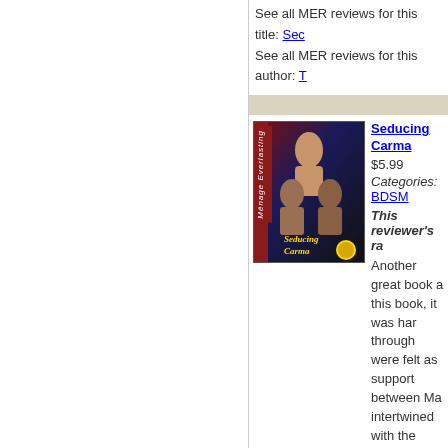See all MER reviews for this title: [link]
See all MER reviews for this author: [link]
[Figure (photo): Book cover for 'Seducing Carma' - a dark romantic/erotic novel cover showing figures against a dark background, with red spine text reading 'Menage Everlasting' and a gold badge at bottom right]
Seducing Carma
$5.99
Categories: BDSM
This reviewer's ra
Another great book a this book, it was har through were felt as support between Ma intertwined with the book. Another fantastic book by Tara Ros
Add to cart
Reviewed by: ChristyHebert (Date: 0
Total reviews by this reviewer: 27 See
Did you find this review helpful? You m
See all MER reviews for this title: [link]
See all MER reviews for this author: [link]